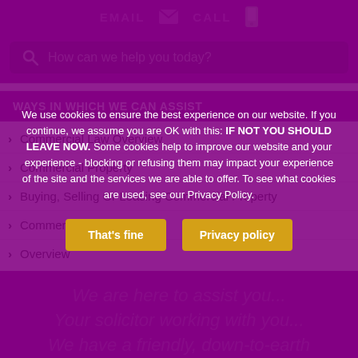EMAIL  CALL
How can we help you today?
WAYS IN WHICH WE CAN ASSIST
Commercial Law Overview
Commercial Property
Buying, Selling Or Leasing Commercial Property
Commercial Leases
Overview
We use cookies to ensure the best experience on our website. If you continue, we assume you are OK with this: IF NOT YOU SHOULD LEAVE NOW. Some cookies help to improve our website and your experience - blocking or refusing them may impact your experience of the site and the services we are able to offer. To see what cookies are used, see our Privacy Policy.
That's fine
Privacy policy